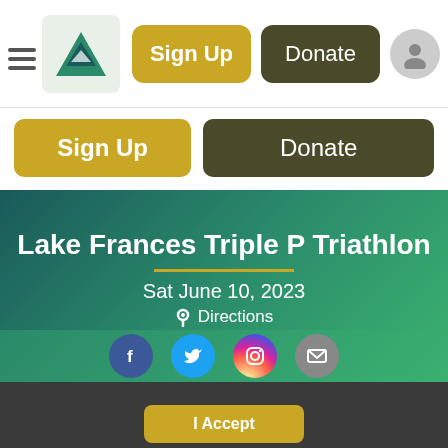[Figure (screenshot): Navigation bar with hamburger menu, logo, Sign Up button (gold), Donate button (dark olive), and user icon]
[Figure (screenshot): Secondary button row with Sign Up (gold) and Donate (dark olive) buttons]
Lake Frances Triple P Triathlon
Sat June 10, 2023
Directions
[Figure (other): Social media icons row: Facebook, Twitter, Instagram, Email]
If you continue to use this site, you consent to use all cookies. Learn More ∨
I Accept